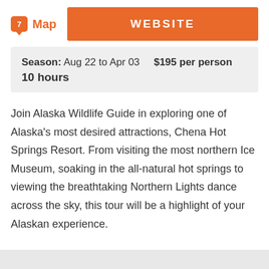Map
WEBSITE
Season: Aug 22 to Apr 03   $195 per person 10 hours
Join Alaska Wildlife Guide in exploring one of Alaska's most desired attractions, Chena Hot Springs Resort. From visiting the most northern Ice Museum, soaking in the all-natural hot springs to viewing the breathtaking Northern Lights dance across the sky, this tour will be a highlight of your Alaskan experience.